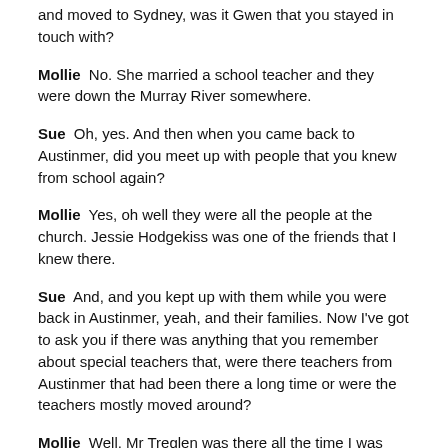and moved to Sydney, was it Gwen that you stayed in touch with?
Mollie  No. She married a school teacher and they were down the Murray River somewhere.
Sue  Oh, yes. And then when you came back to Austinmer, did you meet up with people that you knew from school again?
Mollie  Yes, oh well they were all the people at the church. Jessie Hodgekiss was one of the friends that I knew there.
Sue  And, and you kept up with them while you were back in Austinmer, yeah, and their families. Now I've got to ask you if there was anything that you remember about special teachers that, were there teachers from Austinmer that had been there a long time or were the teachers mostly moved around?
Mollie  Well, Mr Treglen was there all the time I was there.
Sue  And how did they organize the classes, was that, were you all in together?
Mollie  No.